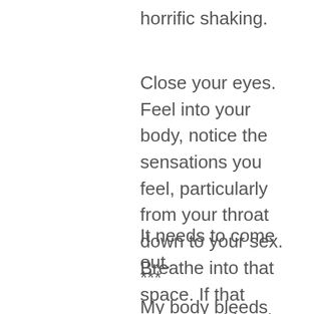horrific shaking.
Close your eyes. Feel into your body, notice the sensations you feel, particularly from your throat down to your sex. Breathe into that space. If that space could make a sound, what would it sound like?
It needs to come out.
***
My body bleeds every month